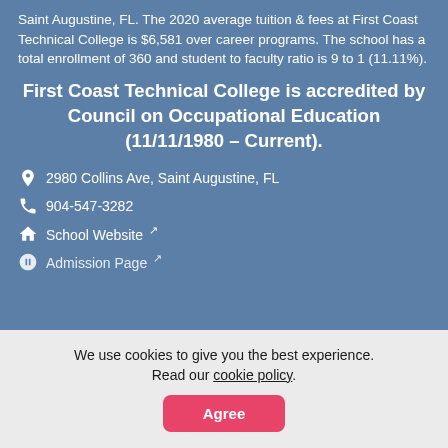Saint Augustine, FL. The 2020 average tuition & fees at First Coast Technical College is $6,581 over career programs. The school has a total enrollment of 360 and student to faculty ratio is 9 to 1 (11.11%).
First Coast Technical College is accredited by Council on Occupational Education (11/11/1980 - Current).
📍 2980 Collins Ave, Saint Augustine, FL
📞 904-547-3282
🏠 School Website ↗
➡ Admission Page ↗
We use cookies to give you the best experience. Read our cookie policy.